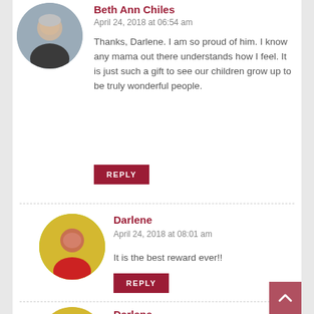[Figure (photo): Circular avatar photo of Beth Ann Chiles, a woman with short light hair wearing a dark top]
Beth Ann Chiles
April 24, 2018 at 06:54 am
Thanks, Darlene. I am so proud of him. I know any mama out there understands how I feel. It is just such a gift to see our children grow up to be truly wonderful people.
REPLY
[Figure (photo): Circular avatar photo of Darlene, a woman in a red top in front of yellow flowers]
Darlene
April 24, 2018 at 08:01 am
It is the best reward ever!!
REPLY
[Figure (photo): Circular avatar photo of Darlene, same as above]
Darlene
April 24, 2018 at 08:02 am